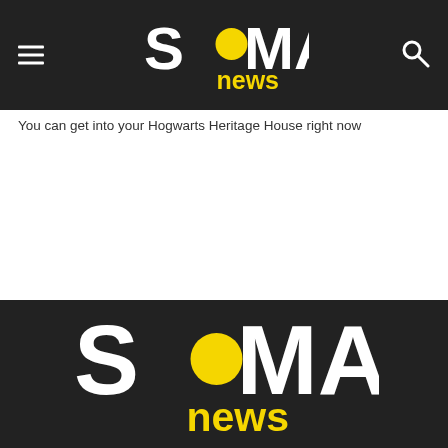SOMAG news — navigation header bar
You can get into your Hogwarts Heritage House right now
[Figure (logo): SoMag News logo large white and yellow on dark background in footer]